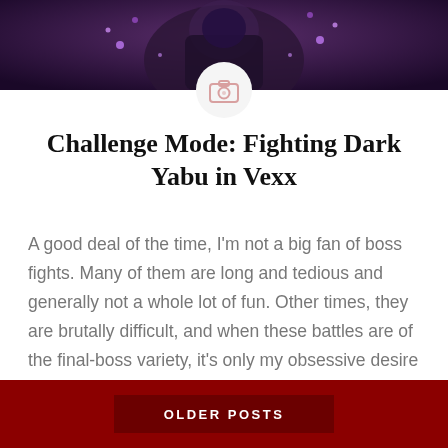[Figure (photo): Dark fantasy game character with purple magical effects — banner image at top of blog post]
Challenge Mode: Fighting Dark Yabu in Vexx
A good deal of the time, I'm not a big fan of boss fights. Many of them are long and tedious and generally not a whole lot of fun.  Other times, they are brutally difficult, and when these battles are of the final-boss variety, it's only my obsessive desire to finish everything I start that…
READ MORE
OLDER POSTS